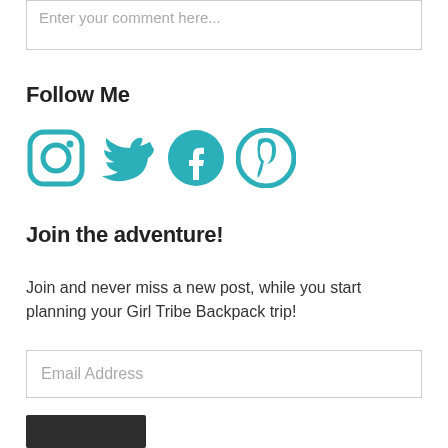Enter your comment here...
Follow Me
[Figure (illustration): Four social media icons in teal: Instagram, Twitter, Facebook, Pinterest]
Join the adventure!
Join and never miss a new post, while you start planning your Girl Tribe Backpack trip!
Email Address